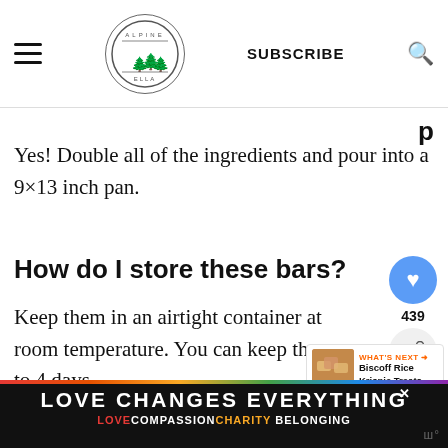SUBSCRIBE
Yes! Double all of the ingredients and pour into a 9×13 inch pan.
How do I store these bars?
Keep them in an airtight container at room temperature. You can keep them up to 4 days.
How do I melt chocolate?
[Figure (other): Advertisement banner with rainbow colors reading LOVE CHANGES EVERYTHING with subtext LOVE COMPASSION CHARITY BELONGING]